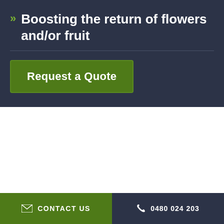Boosting the return of flowers and/or fruit
Request a Quote
CONTACT US   0480 024 203